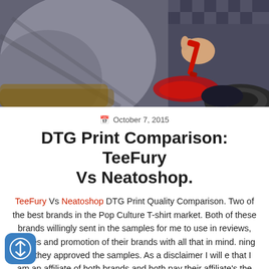[Figure (illustration): Stylized illustration of a person in jeans and jacket holding a red wrench near a car tire, viewed from below/side angle. Dark graphic novel / comic art style.]
October 7, 2015
DTG Print Comparison: TeeFury Vs Neatoshop.
TeeFury Vs Neatoshop DTG Print Quality Comparison. Two of the best brands in the Pop Culture T-shirt market. Both of these brands willingly sent in the samples for me to use in reviews, articles and promotion of their brands with all that in mind. ning that they approved the samples. As a disclaimer I will e that I am an affiliate of both brands and both pay their affiliate's the same rate for the referrals. I have no grudges